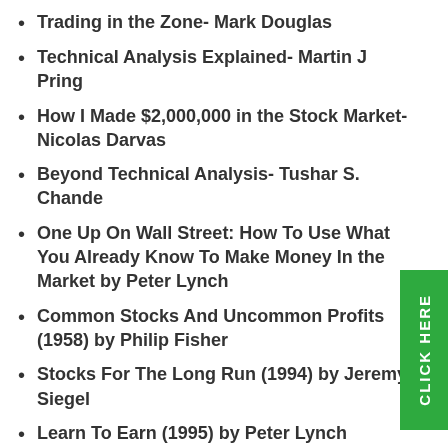Trading in the Zone- Mark Douglas
Technical Analysis Explained- Martin J Pring
How I Made $2,000,000 in the Stock Market- Nicolas Darvas
Beyond Technical Analysis- Tushar S. Chande
One Up On Wall Street: How To Use What You Already Know To Make Money In the Market by Peter Lynch
Common Stocks And Uncommon Profits (1958) by Philip Fisher
Stocks For The Long Run (1994) by Jeremy Siegel
Learn To Earn (1995) by Peter Lynch
Beating The Street (1994) by Peter Lynch
How To Make Money In Stocks (2003, 3rd ed.) by William J. O'Neil